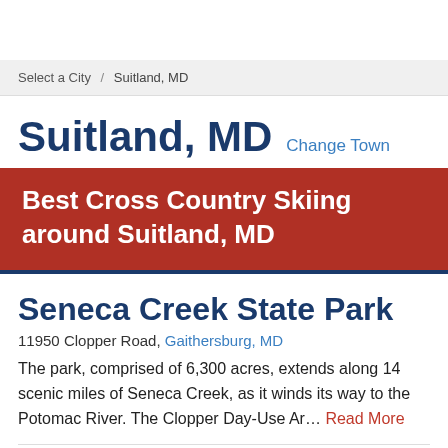Select a City / Suitland, MD
Suitland, MD Change Town
Best Cross Country Skiing around Suitland, MD
Seneca Creek State Park
11950 Clopper Road, Gaithersburg, MD
The park, comprised of 6,300 acres, extends along 14 scenic miles of Seneca Creek, as it winds its way to the Potomac River. The Clopper Day-Use Ar… Read More